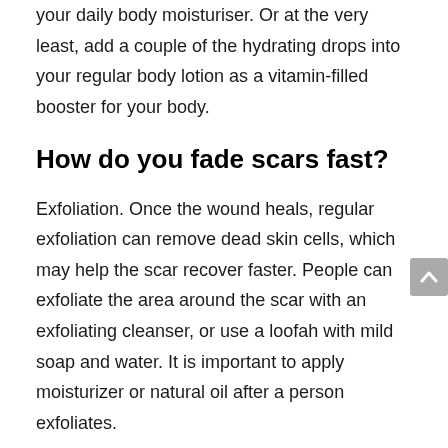your daily body moisturiser. Or at the very least, add a couple of the hydrating drops into your regular body lotion as a vitamin-filled booster for your body.
How do you fade scars fast?
Exfoliation. Once the wound heals, regular exfoliation can remove dead skin cells, which may help the scar recover faster. People can exfoliate the area around the scar with an exfoliating cleanser, or use a loofah with mild soap and water. It is important to apply moisturizer or natural oil after a person exfoliates.
How do you get rid of...